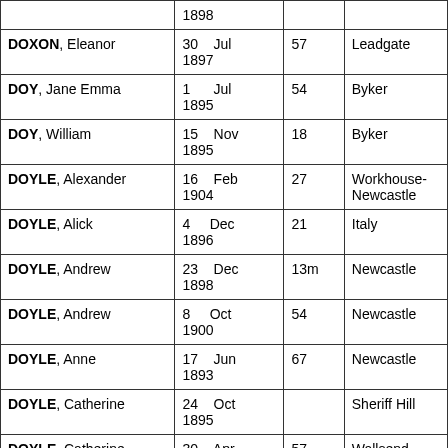| Name | Date | Age | Place |
| --- | --- | --- | --- |
|  | 1898 |  |  |
| DOXON, Eleanor | 30 Jul 1897 | 57 | Leadgate |
| DOY, Jane Emma | 1 Jul 1895 | 54 | Byker |
| DOY, William | 15 Nov 1895 | 18 | Byker |
| DOYLE, Alexander | 16 Feb 1904 | 27 | Workhouse-Newcastle |
| DOYLE, Alick | 4 Dec 1896 | 21 | Italy |
| DOYLE, Andrew | 23 Dec 1898 | 13m | Newcastle |
| DOYLE, Andrew | 8 Oct 1900 | 54 | Newcastle |
| DOYLE, Anne | 17 Jun 1893 | 67 | Newcastle |
| DOYLE, Catherine | 24 Oct 1895 |  | Sheriff Hill |
| DOYLE, Catherine | 30 Apr | 57 | Wallsend |